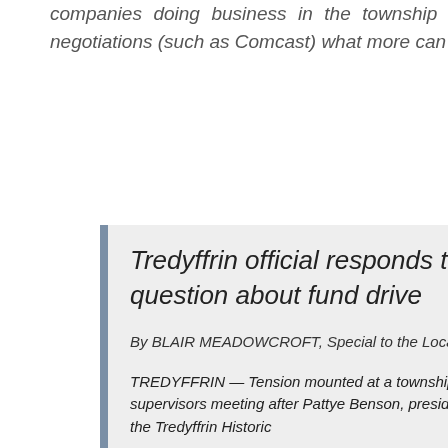companies doing business in the township or under contract negotiations (such as Comcast) what more can be done?
Tredyffrin official responds to question about fund drive
By BLAIR MEADOWCROFT, Special to the Local News
TREDYFFRIN — Tension mounted at a township supervisors meeting after Pattye Benson, president of the Tredyffrin Historic